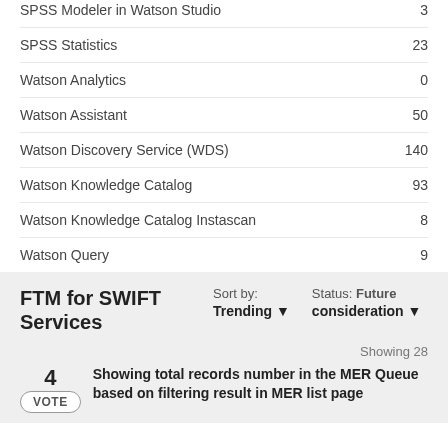|  |  |
| --- | --- |
| SPSS Modeler in Watson Studio | 3 |
| SPSS Statistics | 23 |
| Watson Analytics | 0 |
| Watson Assistant | 50 |
| Watson Discovery Service (WDS) | 140 |
| Watson Knowledge Catalog | 93 |
| Watson Knowledge Catalog Instascan | 8 |
| Watson Query | 9 |
FTM for SWIFT Services
Sort by: Trending ▼
Status: Future consideration ▼
Showing 28
4
VOTE
Showing total records number in the MER Queue based on filtering result in MER list page